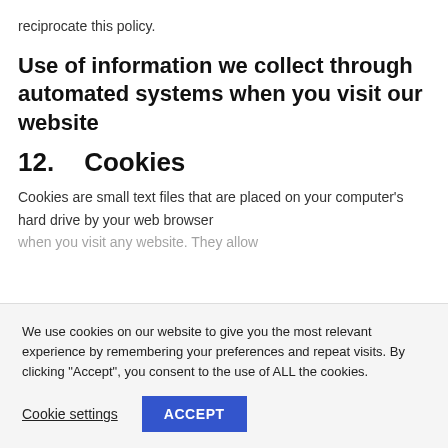reciprocate this policy.
Use of information we collect through automated systems when you visit our website
12.      Cookies
Cookies are small text files that are placed on your computer’s hard drive by your web browser when you visit any website. They allow
We use cookies on our website to give you the most relevant experience by remembering your preferences and repeat visits. By clicking “Accept”, you consent to the use of ALL the cookies.
Cookie settings
ACCEPT